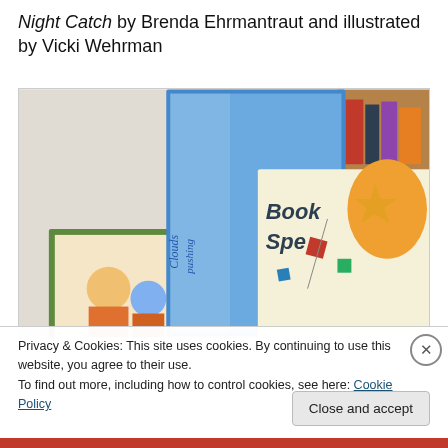Night Catch by Brenda Ehrmantraut and illustrated by Vicki Wehrman
[Figure (photo): Photograph of several children's books on display on a shelf or ledge, including a blue-covered book, a green-bordered book, and a book with 'Book Spe...' visible. Background shows a bookshelf with various items.]
Privacy & Cookies: This site uses cookies. By continuing to use this website, you agree to their use.
To find out more, including how to control cookies, see here: Cookie Policy
Close and accept